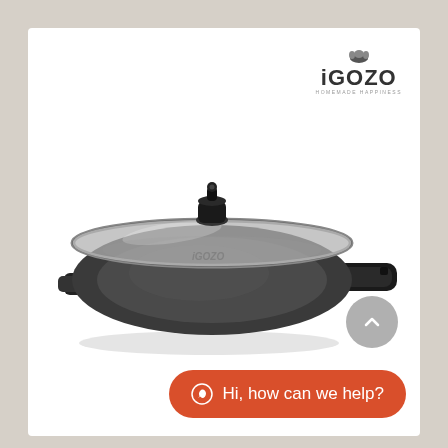[Figure (logo): iGOZO brand logo with chef hat icon and tagline 'HOMEMADE HAPPINESS']
[Figure (photo): Dark grey speckled non-stick wok/pan with glass lid, black handle on right side, small helper handle on left, black knob on lid]
Hi, how can we help?